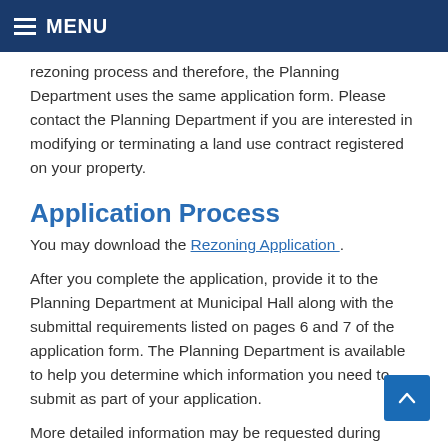MENU
rezoning process and therefore, the Planning Department uses the same application form. Please contact the Planning Department if you are interested in modifying or terminating a land use contract registered on your property.
Application Process
You may download the Rezoning Application .
After you complete the application, provide it to the Planning Department at Municipal Hall along with the submittal requirements listed on pages 6 and 7 of the application form. The Planning Department is available to help you determine which information you need to submit as part of your application.
More detailed information may be requested during review of the application. Submission of an application